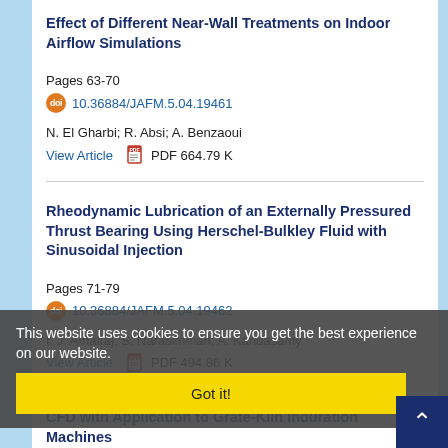Effect of Different Near-Wall Treatments on Indoor Airflow Simulations
Pages 63-70
10.36884/JAFM.5.04.19461
N. El Gharbi; R. Absi; A. Benzaoui
View Article   PDF 664.79 K
Rheodynamic Lubrication of an Externally Pressured Thrust Bearing Using Herschel-Bulkley Fluid with Sinusoidal Injection
Pages 71-79
10.36884/JAFM.5.04.19462
I. J. Amairaj; S. Narasimman; A. Kandasamy
View Article   PDF 494.86 K
Visualization of Merging Flow by Usage of PIV and CFD with Application to Grate-Kiln Induration Machines
This website uses cookies to ensure you get the best experience on our website.